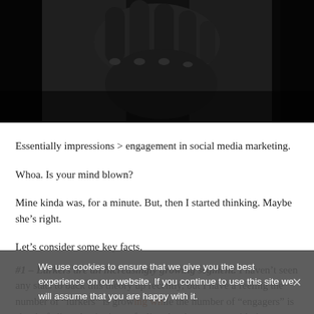[Figure (photo): Black and white close-up photo of a hand with fingers curled, dark background with window light]
Essentially impressions > engagement in social media marketing.
Whoa. Is your mind blown?
Mine kinda was, for a minute. But, then I started thinking. Maybe she’s right.
Let’s consider some key facts.
#1 – Lurkers are an increasingly growing segment. I haven’t seen any stats to back this theory up recently, but I have a feeling the number of “lurkers” is growing while the number of “engagers” is slowly fading. Again, just a feeling, but it syncs up with the way
We use cookies to ensure that we give you the best experience on our website. If you continue to use this site we will assume that you are happy with it.